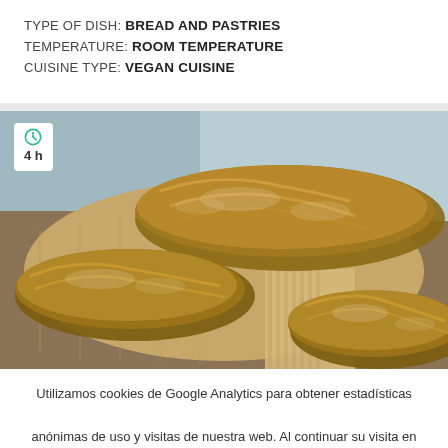TYPE OF DISH: BREAD AND PASTRIES
TEMPERATURE: ROOM TEMPERATURE
CUISINE TYPE: VEGAN CUISINE
[Figure (photo): Three rustic artisan bread loaves on a wooden cutting board, showing scored tops with golden-brown crusts dusted with flour. A white badge in the top-left corner shows a clock icon and '4 h' indicating preparation time.]
Utilizamos cookies de Google Analytics para obtener estadísticas anónimas de uso y visitas de nuestra web. Al continuar su visita en este sitio, acepta el uso de cookies.
ACEPTAR   Más información